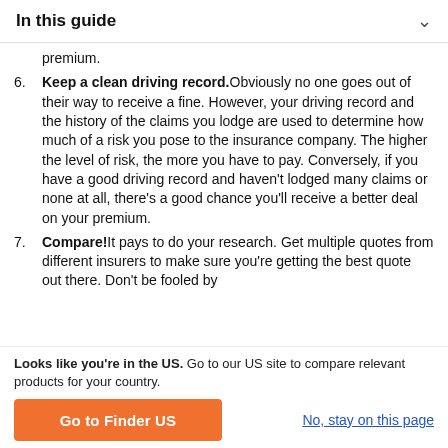In this guide
premium.
Keep a clean driving record. Obviously no one goes out of their way to receive a fine. However, your driving record and the history of the claims you lodge are used to determine how much of a risk you pose to the insurance company. The higher the level of risk, the more you have to pay. Conversely, if you have a good driving record and haven't lodged many claims or none at all, there's a good chance you'll receive a better deal on your premium.
Compare! It pays to do your research. Get multiple quotes from different insurers to make sure you're getting the best quote out there. Don't be fooled by
Looks like you're in the US. Go to our US site to compare relevant products for your country.
Go to Finder US
No, stay on this page